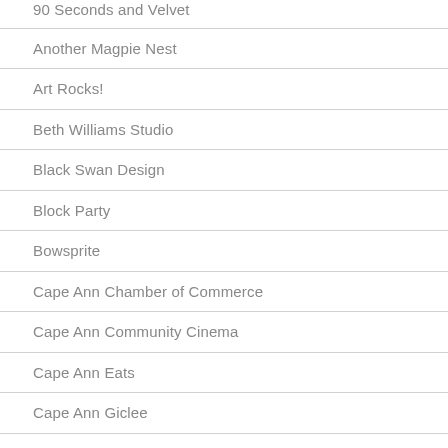90 Seconds and Velvet
Another Magpie Nest
Art Rocks!
Beth Williams Studio
Black Swan Design
Block Party
Bowsprite
Cape Ann Chamber of Commerce
Cape Ann Community Cinema
Cape Ann Eats
Cape Ann Giclee
Cape Ann Home
Cape Ann Images